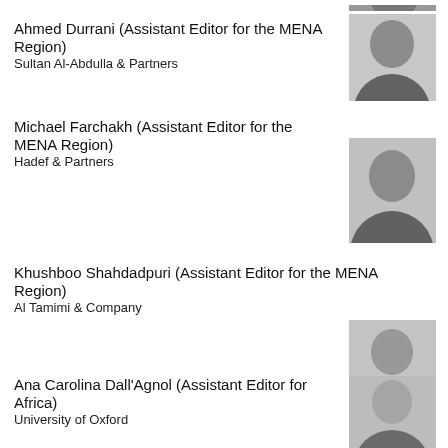Ahmed Durrani (Assistant Editor for the MENA Region)
Sultan Al-Abdulla & Partners
[Figure (photo): Black and white headshot of Ahmed Durrani]
Michael Farchakh (Assistant Editor for the MENA Region)
Hadef & Partners
[Figure (photo): Black and white headshot of Michael Farchakh]
Khushboo Shahdadpuri (Assistant Editor for the MENA Region)
Al Tamimi & Company
[Figure (photo): Black and white headshot of Khushboo Shahdadpuri]
Ana Carolina Dall'Agnol (Assistant Editor for Africa)
University of Oxford
[Figure (photo): Black and white headshot of Ana Carolina Dall'Agnol]
Antoine Cottin (Assistant Editor for Europe)
Laborde Law
[Figure (photo): Black and white headshot of Antoine Cottin]